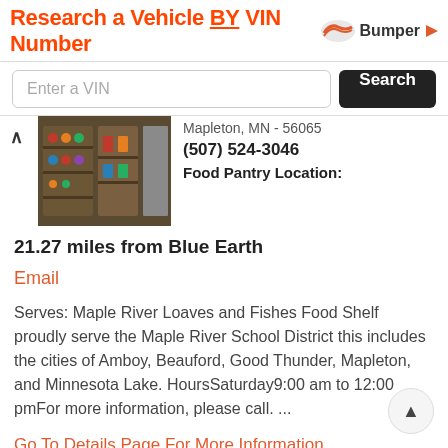[Figure (screenshot): Bumper ad banner: 'Research a Vehicle BY VIN Number' with Bumper logo and a VIN search input field with Search button]
Mapleton, MN - 56065
(507) 524-3046
Food Pantry Location:
[Figure (photo): Interior photo of a food pantry with shelves stocked with canned goods and food items]
21.27 miles from Blue Earth
Email
Serves: Maple River Loaves and Fishes Food Shelf proudly serve the Maple River School District this includes the cities of Amboy, Beauford, Good Thunder, Mapleton, and Minnesota Lake. HoursSaturday9:00 am to 12:00 pmFor more information, please call. ...
Go To Details Page For More Information